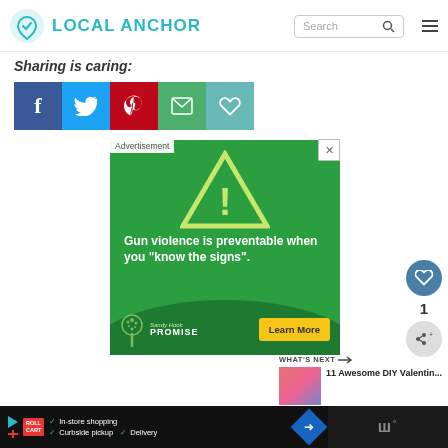[Figure (screenshot): Local Anchor website header with teal logo, search bar, and hamburger menu]
Sharing is caring:
[Figure (infographic): Social sharing buttons: Facebook (blue), Twitter (light blue), Pinterest (red), Email (green), Heart/favorite (teal)]
[Figure (infographic): Advertisement banner: Sandy Hook Promise ad. Green background with yellow warning triangle and exclamation mark. Text: 'Gun violence is preventable when you "know the signs".' Learn More button. Sandy Hook Promise logo. Advertisement label and X close button.]
[Figure (infographic): Side buttons: heart icon in teal circle, count '1', share icon in gray circle]
[Figure (infographic): What's Next section with thumbnail image and text '11 Awesome DIY Valentin...']
[Figure (infographic): Bottom advertisement bar with play button, logo, checkmarks for In-store shopping, Curbside pickup, Delivery, blue diamond arrow icon, and dark bar on right]